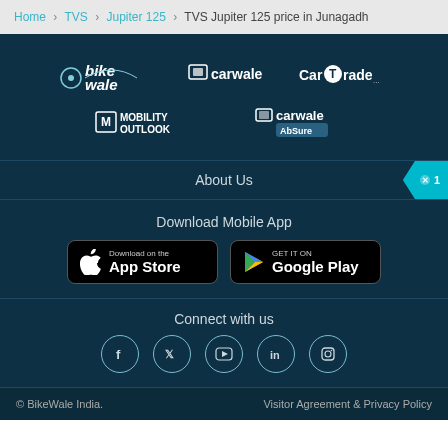Home > TVS > Jupiter 125 > TVS Jupiter 125 price in Junagadh
[Figure (logo): BikeWale logo - white stylized text]
[Figure (logo): Carwale logo - white text with icon]
[Figure (logo): CarTrade logo - white text with T icon]
[Figure (logo): Mobility Outlook logo - white text with M icon]
[Figure (logo): CarWale AbSure logo - white text with icon]
About Us
Download Mobile App
[Figure (screenshot): Download on the App Store button]
[Figure (screenshot): Get it on Google Play button]
Connect with us
[Figure (illustration): Social media icons: Facebook, Twitter, YouTube, LinkedIn, Instagram]
© BikeWale India.   Visitor Agreement & Privacy Policy